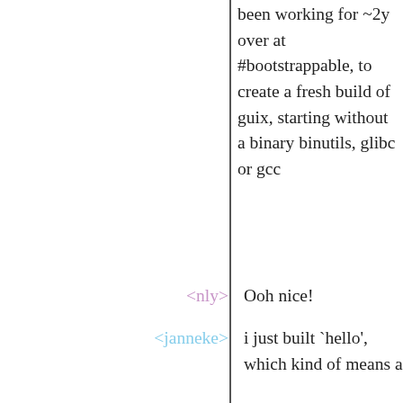been working for ~2y over at #bootstrappable, to create a fresh build of guix, starting without a binary binutils, glibc or gcc
<nly> Ooh nice!
<janneke> i just built `hello', which kind of means a major milestone -- we cheated here and there, that will to be addressed later
<nly> how does anything start building without any binary?